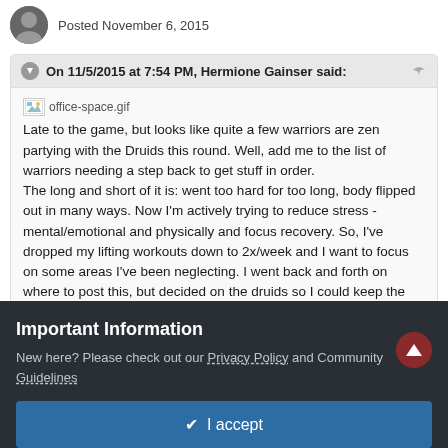Posted November 6, 2015
On 11/5/2015 at 7:54 PM, Hermione Gainser said:
[Figure (illustration): Broken image placeholder labeled office-space.gif]
Late to the game, but looks like quite a few warriors are zen partying with the Druids this round. Well, add me to the list of warriors needing a step back to get stuff in order.
The long and short of it is: went too hard for too long, body flipped out in many ways. Now I'm actively trying to reduce stress - mental/emotional and physically and focus recovery. So, I've dropped my lifting workouts down to 2x/week and I want to focus on some areas I've been neglecting. I went back and forth on where to post this, but decided on the druids so I could keep the
Important Information
New here? Please check out our Privacy Policy and Community Guidelines